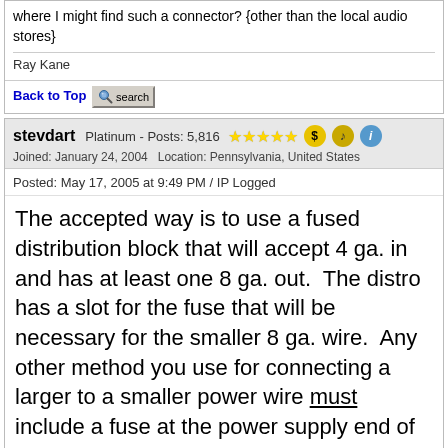where I might find such a connector? {other than the local audio stores}
Ray Kane
Back to Top  [search]
stevdart  Platinum - Posts: 5,816  [5 stars] [$] [music] [i]
Joined: January 24, 2004   Location: Pennsylvania, United States
Posted: May 17, 2005 at 9:49 PM / IP Logged
The accepted way is to use a fused distribution block that will accept 4 ga. in and has at least one 8 ga. out.  The distro has a slot for the fuse that will be necessary for the smaller 8 ga. wire.  Any other method you use for connecting a larger to a smaller power wire must include a fuse at the power supply end of the smaller wire.
Build the box so that it performs well in the worst case scenario and, in return, it will reward you at all times.
Back to Top  [search]